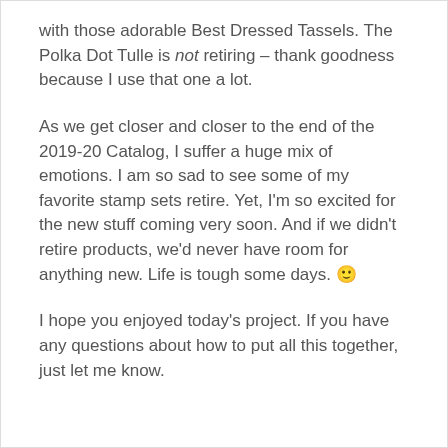with those adorable Best Dressed Tassels. The Polka Dot Tulle is not retiring – thank goodness because I use that one a lot.
As we get closer and closer to the end of the 2019-20 Catalog, I suffer a huge mix of emotions. I am so sad to see some of my favorite stamp sets retire. Yet, I'm so excited for the new stuff coming very soon. And if we didn't retire products, we'd never have room for anything new. Life is tough some days. 🙂
I hope you enjoyed today's project. If you have any questions about how to put all this together, just let me know.